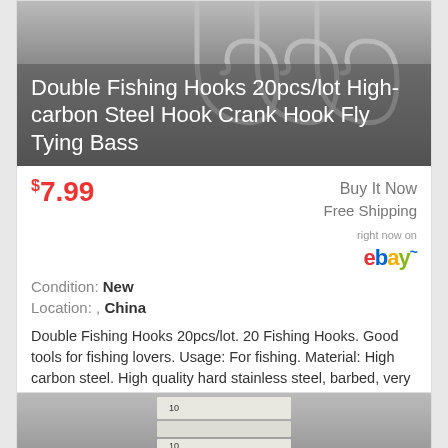[Figure (photo): Fishing hooks product photo with gray gradient background showing metal double fishing hooks]
Double Fishing Hooks 20pcs/lot High-carbon Steel Hook Crank Hook Fly Tying Bass
$7.99
Buy It Now
Free Shipping
right now on ebay
Condition: New
Location: , China
Double Fishing Hooks 20pcs/lot. 20 Fishing Hooks. Good tools for fishing lovers. Usage: For fishing. Material: High carbon steel. High quality hard stainless steel, barbed, very sharp. Size: 1#, 2#, 4#, 6#, 8# ( as pictures show).
[Figure (photo): Photo of fishing hook product boxes stacked on a surface]